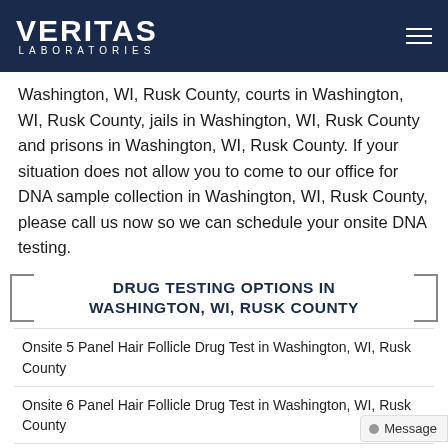VERITAS LABORATORIES
Washington, WI, Rusk County, courts in Washington, WI, Rusk County, jails in Washington, WI, Rusk County and prisons in Washington, WI, Rusk County. If your situation does not allow you to come to our office for DNA sample collection in Washington, WI, Rusk County, please call us now so we can schedule your onsite DNA testing.
DRUG TESTING OPTIONS IN WASHINGTON, WI, RUSK COUNTY
Onsite 5 Panel Hair Follicle Drug Test in Washington, WI, Rusk County
Onsite 6 Panel Hair Follicle Drug Test in Washington, WI, Rusk County